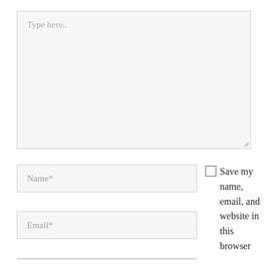[Figure (screenshot): A web comment form with a large textarea showing placeholder text 'Type here..', two input fields for Name* and Email*, a partial third field, and a checkbox with label text 'Save my name, email, and website in this browser']
Type here..
Name*
Email*
Save my name, email, and website in this browser